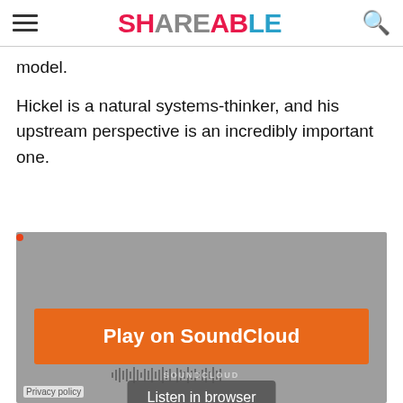SHAREABLE
model.
Hickel is a natural systems-thinker, and his upstream perspective is an incredibly important one.
[Figure (screenshot): SoundCloud embedded player widget with gray background, orange 'Play on SoundCloud' button, 'Listen in browser' button, waveform lines, SOUNDCLOUD watermark, and Privacy policy link.]